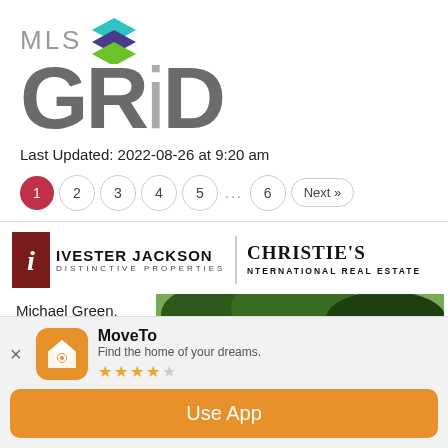[Figure (logo): MLS GRID logo with colorful stacked squares icon and large GRID text]
Last Updated: 2022-08-26 at 9:20 am
1 2 3 4 5 ... 6 Next »
[Figure (logo): Ivester Jackson Distinctive Properties | Christie's International Real Estate combined logo]
Michael Green, Licensed NC
[Figure (photo): Outdoor photo showing trees and building]
MoveTo
Find the home of your dreams.
★★★★☆
Use App